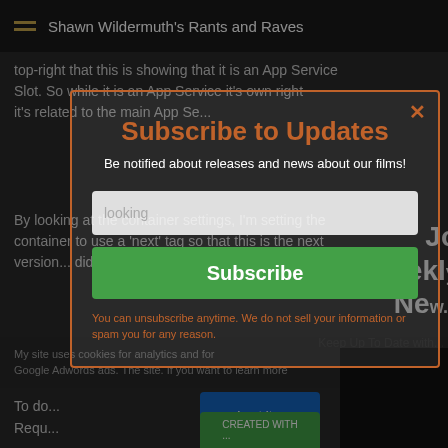Shawn Wildermuth's Rants and Raves
top-right that this is showing that it is an App Service Slot. So while it is an App Service it's own right it's related to the main App Se...
By looking at the container settings, I'm setting the container to use a 'next' tag so that this is the next version... didn't the li...
Subscribe to Updates
Be notified about releases and news about our films!
looking
Subscribe
You can unsubscribe anytime. We do not sell your information or spam you for any reason.
My site uses cookies for analytics and for Google Adwords ads. The site. If you want to learn more
To do
Requ